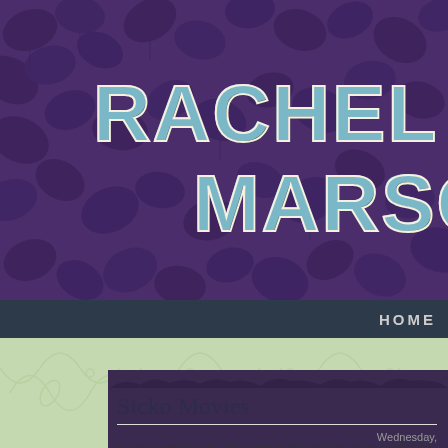[Figure (screenshot): Purple leaf/ivy background header banner for Rachel Marso blog]
RACHEL MARSO
HOME
[Figure (illustration): Green decorative botanical pattern background]
Sicko Movies
Wednesday,
I'm sick and haven't done much the last few days except for watch movies and my little mini-reviews.
Super High Me – A documentary about a comedian who stops smoking for a month and then smokes nonstop for a month. I was much more intere... stuff (I love comedian-related documentaries like Heckler) than the m...